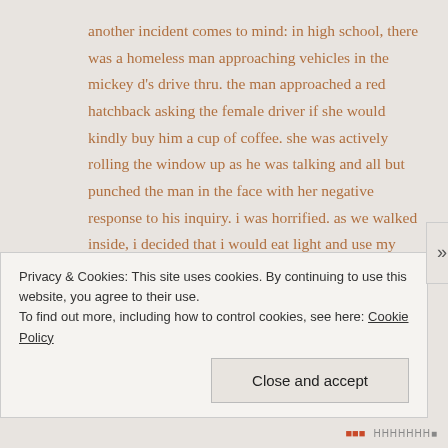another incident comes to mind: in high school, there was a homeless man approaching vehicles in the mickey d's drive thru. the man approached a red hatchback asking the female driver if she would kindly buy him a cup of coffee. she was actively rolling the window up as he was talking and all but punched the man in the face with her negative response to his inquiry. i was horrified. as we walked inside, i decided that i would eat light and use my leftover money to buy him something to eat. i collected “change” from my comrades and bought as many cheeseburgers as i could. along with the thirst aid of a small beverage. the man had
Privacy & Cookies: This site uses cookies. By continuing to use this website, you agree to their use.
To find out more, including how to control cookies, see here: Cookie Policy
Close and accept